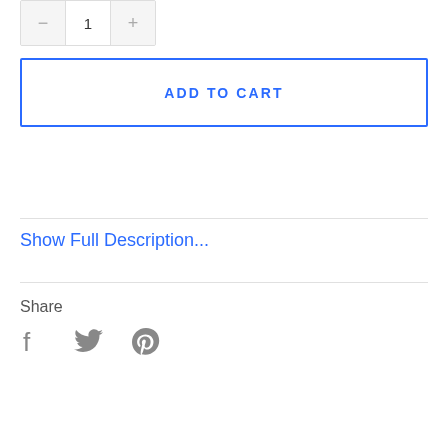[Figure (other): Quantity selector widget with minus button, number 1, and plus button]
ADD TO CART
Show Full Description...
Share
[Figure (other): Social sharing icons: Facebook, Twitter, Pinterest]